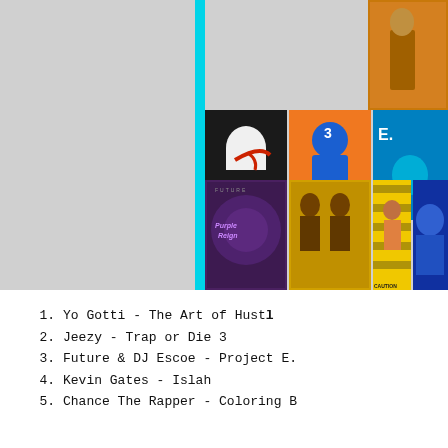[Figure (illustration): Collage of music album covers arranged in a staircase/pyramid grid layout. Albums include Future - Purple Reign, Jeezy - Trap or Die 3, Future & DJ Escoe - Project E.T., Kevin Gates - Islah, Chance the Rapper - Coloring Book, Yo Gotti - The Art of Hustle, and others. A cyan/teal vertical bar is on the left side of the image section.]
1.   Yo Gotti - The Art of Hustl
2.   Jeezy - Trap or Die 3
3.   Future & DJ Escoe - Project E.
4.   Kevin Gates - Islah
5.   Chance The Rapper - Coloring B